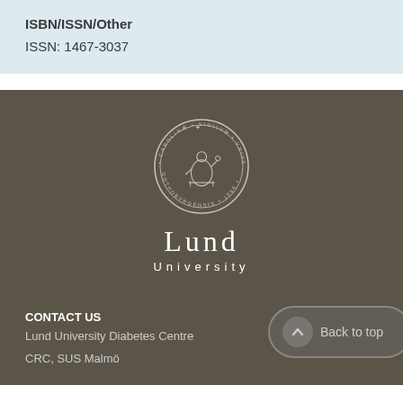ISBN/ISSN/Other
ISSN: 1467-3037
[Figure (logo): Lund University seal/crest logo with circular text reading CAROLINAE SIGILVM UNIVERSITATIS GOTHOBVRG and year 1666, above text LUND UNIVERSITY]
CONTACT US
Lund University Diabetes Centre
CRC, SUS Malmö